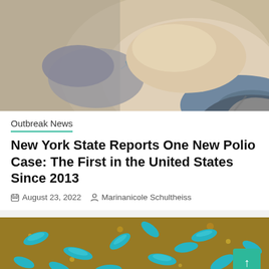[Figure (photo): Close-up photograph of a healthcare worker administering a vaccine injection into a person's arm with a syringe]
Outbreak News
New York State Reports One New Polio Case: The First in the United States Since 2013
August 23, 2022   Marinanicole Schultheiss
[Figure (photo): Microscopic image of blue rod-shaped bacteria (resembling Shigella or similar pathogen) on a golden/brown background]